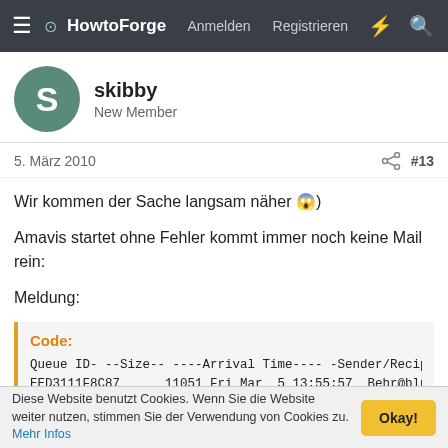HowtoForge  Anmelden  Registrieren
skibby
New Member
5. März 2010  #13
Wir kommen der Sache langsam näher 😱)
Amavis startet ohne Fehler kommt immer noch keine Mail rein:
Meldung:
Code:
Queue ID- --Size-- ----Arrival Time---- -Sender/Recip
EED3111F8C87      11051 Fri Mar  5 13:55:57  Behr@bluew
(lost connection with 127.0.0.1[127.0.0.1] while rece
                                            david@40764.
Diese Website benutzt Cookies. Wenn Sie die Website weiter nutzen, stimmen Sie der Verwendung von Cookies zu. Mehr Infos  Okay!